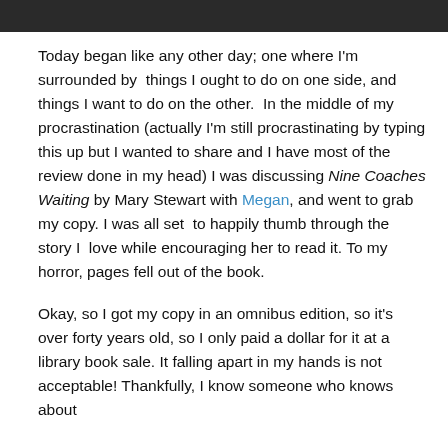[Figure (photo): Top strip of a photograph, dark/shadowy image cropped at the top of the page]
Today began like any other day; one where I'm surrounded by  things I ought to do on one side, and things I want to do on the other.  In the middle of my procrastination (actually I'm still procrastinating by typing this up but I wanted to share and I have most of the review done in my head) I was discussing Nine Coaches Waiting by Mary Stewart with Megan, and went to grab my copy. I was all set  to happily thumb through the story I  love while encouraging her to read it. To my horror, pages fell out of the book.
Okay, so I got my copy in an omnibus edition, so it's over forty years old, so I only paid a dollar for it at a library book sale. It falling apart in my hands is not acceptable! Thankfully, I know someone who knows about